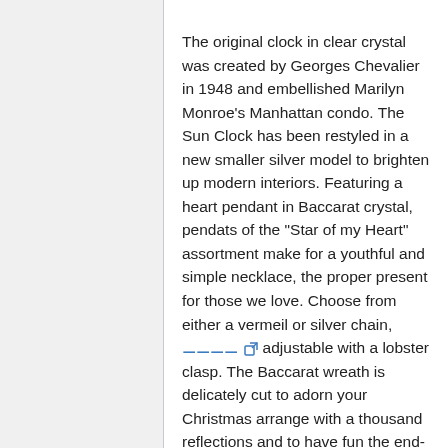The original clock in clear crystal was created by Georges Chevalier in 1948 and embellished Marilyn Monroe's Manhattan condo. The Sun Clock has been restyled in a new smaller silver model to brighten up modern interiors. Featuring a heart pendant in Baccarat crystal, pendats of the "Star of my Heart" assortment make for a youthful and simple necklace, the proper present for those we love. Choose from either a vermeil or silver chain, [link] adjustable with a lobster clasp. The Baccarat wreath is delicately cut to adorn your Christmas arrange with a thousand reflections and to have fun the end-of-year with brilliance.
Different strategies like laying odds after